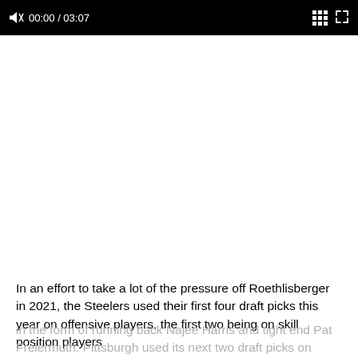[Figure (screenshot): Video player control bar showing mute icon, timestamp 00:00 / 03:07, grid/chapters icon, and fullscreen icon on black background]
In an effort to take a lot of the pressure off Roethlisberger in 2021, the Steelers used their first four draft picks this year on offensive players, the first two being on skill position players in the form of running back Najee Harris and tight end Pat Freiermuth. Pittsburgh used its next two draft picks on